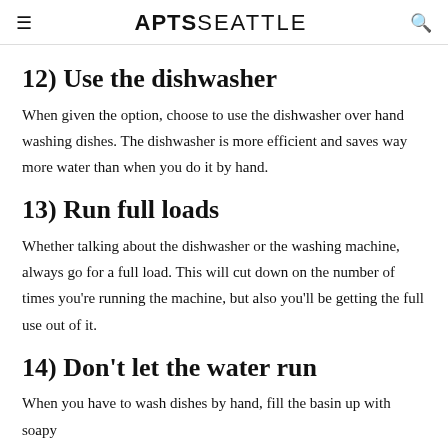APTSSEATTLE
12) Use the dishwasher
When given the option, choose to use the dishwasher over hand washing dishes. The dishwasher is more efficient and saves way more water than when you do it by hand.
13) Run full loads
Whether talking about the dishwasher or the washing machine, always go for a full load. This will cut down on the number of times you're running the machine, but also you'll be getting the full use out of it.
14) Don't let the water run
When you have to wash dishes by hand, fill the basin up with soapy